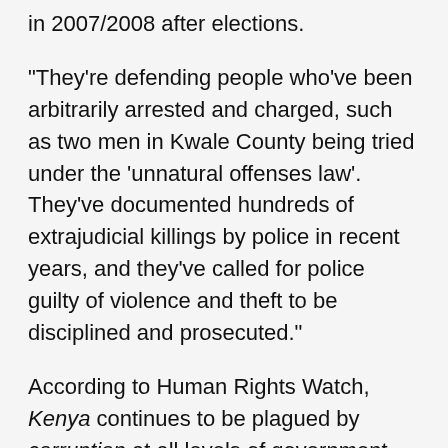in 2007/2008 after elections.
“They’re defending people who’ve been arbitrarily arrested and charged, such as two men in Kwale County being tried under the ‘unnatural offenses law’. They’ve documented hundreds of extrajudicial killings by police in recent years, and they’ve called for police guilty of violence and theft to be disciplined and prosecuted.”
According to Human Rights Watch, Kenya continues to be plagued by corruption at all levels of government with limited accountability.
For example, although both presidents Kenyatta and Ruto campaigned for elected office on pledges to continue their cooperation with the International Criminal Court (ICC), which has charged both presidents with crimes against humanity in the past, their campaigns later painted the ICC as a tool of Western imperialism, and encouraged